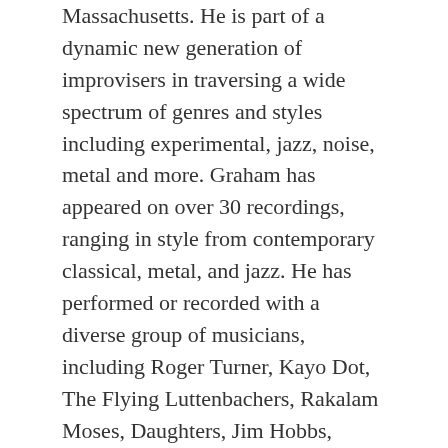Massachusetts. He is part of a dynamic new generation of improvisers in traversing a wide spectrum of genres and styles including experimental, jazz, noise, metal and more. Graham has appeared on over 30 recordings, ranging in style from contemporary classical, metal, and jazz. He has performed or recorded with a diverse group of musicians, including Roger Turner, Kayo Dot, The Flying Luttenbachers, Rakalam Moses, Daughters, Jim Hobbs, Erase Errata, Thoughtstreams, and Raqib Hassan. He is currently a member of the Para Quintet, Rock Flint Contemporary Ensemble, Wild May, Grizzler, Construction Party, and Equal Time. He is the founder of the Rock Flint Artists Retreat, and has appeared at numerous festivals including High Zero, Full Force (curated by John Zorn), Vision Festival, and The Wire's Adventures in Modern